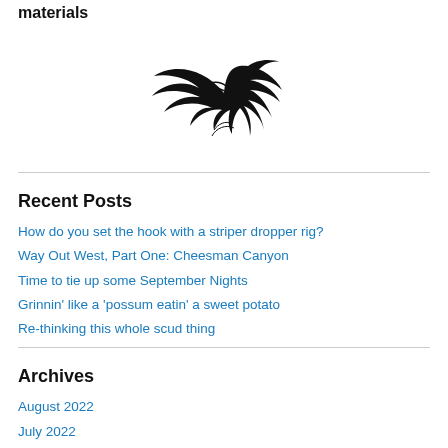materials
[Figure (logo): Stylized flying fish or bird logo in black ink, tribal/tattoo style]
Recent Posts
How do you set the hook with a striper dropper rig?
Way Out West, Part One: Cheesman Canyon
Time to tie up some September Nights
Grinnin' like a 'possum eatin' a sweet potato
Re-thinking this whole scud thing
Archives
August 2022
July 2022
June 2022